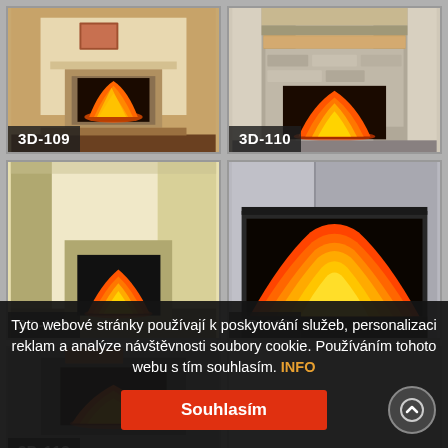[Figure (screenshot): 3D fireplace rendering 3D-109 - living room with mantel and fire]
[Figure (screenshot): 3D fireplace rendering 3D-110 - stone surround with wooden beam and fire]
[Figure (screenshot): 3D fireplace rendering 3D-111 - modern yellow/cream room with fireplace insert]
[Figure (screenshot): 3D fireplace rendering 3D-112 - grey corner fireplace with large glass and fire]
[Figure (screenshot): 3D fireplace rendering 3D-113 - partially visible fireplace]
Tyto webové stránky používají k poskytování služeb, personalizaci reklam a analýze návštěvnosti soubory cookie. Používáním tohoto webu s tím souhlasím. INFO
Souhlasím